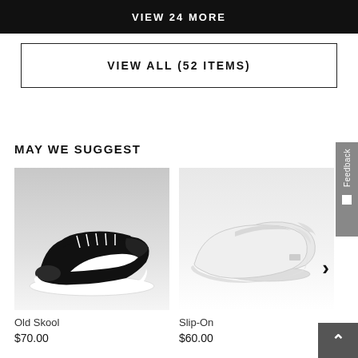VIEW 24 MORE
VIEW ALL (52 ITEMS)
MAY WE SUGGEST
[Figure (photo): Black Vans Old Skool low-top sneaker on grey/white background]
Old Skool
$70.00
[Figure (photo): White Vans Slip-On sneaker on white background]
Slip-On
$60.00